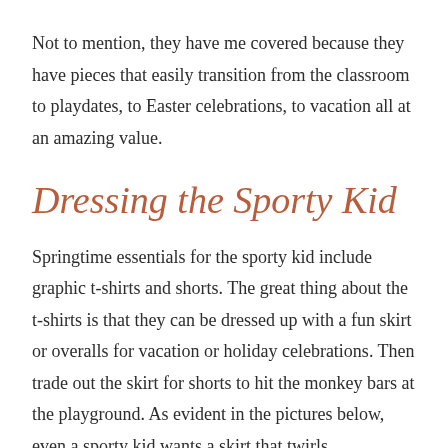Not to mention, they have me covered because they have pieces that easily transition from the classroom to playdates, to Easter celebrations, to vacation all at an amazing value.
Dressing the Sporty Kid
Springtime essentials for the sporty kid include graphic t-shirts and shorts. The great thing about the t-shirts is that they can be dressed up with a fun skirt or overalls for vacation or holiday celebrations. Then trade out the skirt for shorts to hit the monkey bars at the playground. As evident in the pictures below, even a sporty kid wants a skirt that twirls.